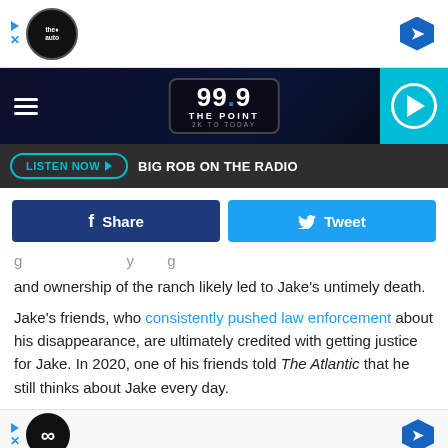[Figure (screenshot): Top advertisement banner with DriveAuto logo and navigation arrow]
[Figure (logo): 99.9 The Point radio station header with hamburger menu and play button]
LISTEN NOW ▶  BIG ROB ON THE RADIO
[Figure (screenshot): Facebook Share and Twitter Tweet social sharing buttons]
and ownership of the ranch likely led to Jake's untimely death.
Jake's friends, who consistently pushed law enforcement about his disappearance, are ultimately credited with getting justice for Jake. In 2020, one of his friends told The Atlantic that he still thinks about Jake every day.
[Figure (screenshot): Bottom advertisement banner with infinity logo]
INFA